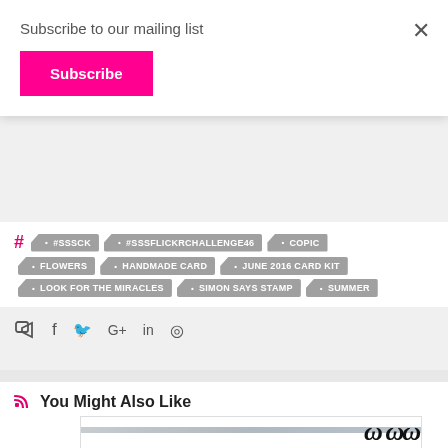Subscribe to our mailing list
Subscribe
#SSSCK • #SSSFLICKRCHALLENGE46 • COPIC • FLOWERS • HANDMADE CARD • JUNE 2016 CARD KIT • LOOK FOR THE MIRACLES • SIMON SAYS STAMP • SUMMER
[Figure (infographic): Social sharing icons: share, facebook, twitter, google+, linkedin, whatsapp]
You Might Also Like
[Figure (photo): Partially visible calligraphy or hand-lettering preview image with decorative script text]